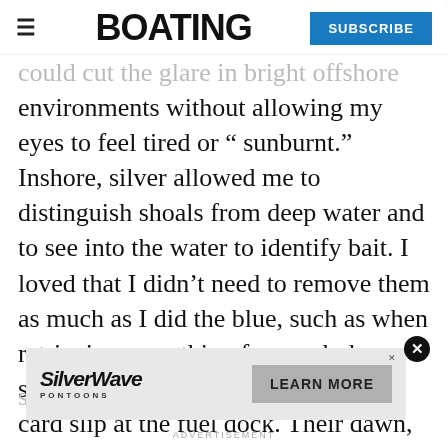BOATING — SUBSCRIBE
could cut the glare in bright offshore environments without allowing my eyes to feel tired or “ sunburnt.” Inshore, silver allowed me to distinguish shoals from deep water and to see into the water to identify bait. I loved that I didn’t need to remove them as much as I did the blue, such as when retrieving something from a dark stowage locker, or signing the credit card slip at the fuel dock. Their dawn, dusk and foggy day performance is supe
[Figure (other): SilverWave Pontoons advertisement banner with logo and LEARN MORE button]